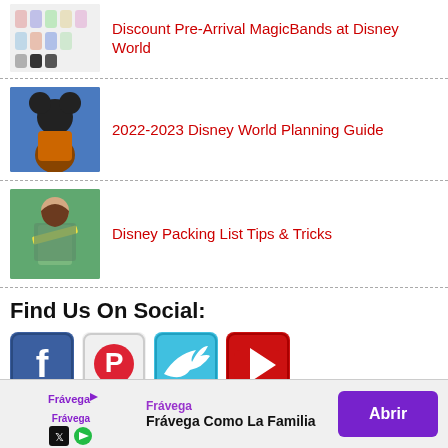[Figure (photo): Thumbnail of colorful MagicBands]
Discount Pre-Arrival MagicBands at Disney World
[Figure (photo): Thumbnail of Mickey Mouse character meet]
2022-2023 Disney World Planning Guide
[Figure (photo): Thumbnail of woman with sash at Disney]
Disney Packing List Tips & Tricks
Find Us On Social:
[Figure (infographic): Social media icons: Facebook, Pinterest, Twitter, YouTube]
Best Deals:
Don’t Wait for Discounts to Book
Frávega Como La Familia — Abrir